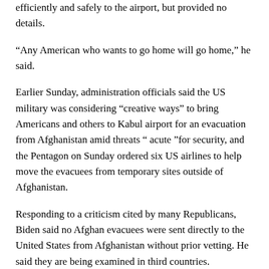efficiently and safely to the airport, but provided no details.
“Any American who wants to go home will go home,” he said.
Earlier Sunday, administration officials said the US military was considering “creative ways” to bring Americans and others to Kabul airport for an evacuation from Afghanistan amid threats “acute ”for security, and the Pentagon on Sunday ordered six US airlines to help move the evacuees from temporary sites outside of Afghanistan.
Responding to a criticism cited by many Republicans, Biden said no Afghan evacuees were sent directly to the United States from Afghanistan without prior vetting. He said they are being examined in third countries.
Biden and his key aides have repeatedly expressed concern that extremist groups in Afghanistan are trying to exploit the chaos around Kabul airport.